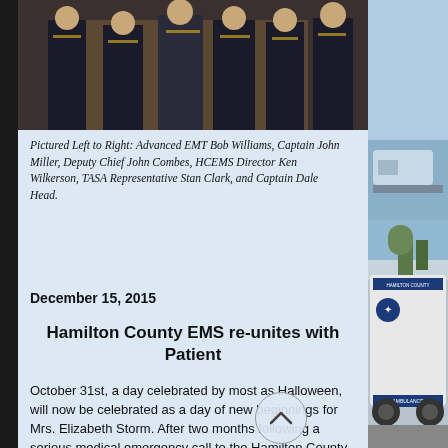[Figure (photo): Group photo of uniformed EMS personnel standing together, partially visible at top of page]
Pictured Left to Right:  Advanced EMT Bob Williams, Captain John Miller, Deputy Chief John Combes, HCEMS Director Ken Wilkerson, TASA Representative Stan Clark, and Captain Dale Head.
December 15, 2015
Hamilton County EMS re-unites with Patient
October 31st, a day celebrated by most as Halloween, will now be celebrated as a day of new beginnings for Mrs. Elizabeth Storm.   After two months following a serious medical emergency call to the Hamilton County 911 Center, Elizabeth Storm reunited with Hamilton County Emergency Medical Services Paramedics Vincent Vella and Sam Latone to say, “Thank you for saving
[Figure (photo): Hamilton County EMS ambulance parked outside a building, visible on the right side of the page]